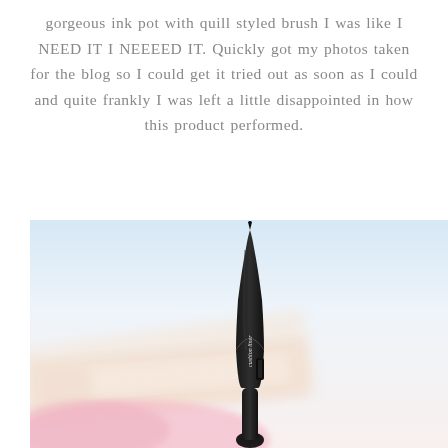gorgeous ink pot with quill styled brush I was like I NEED IT I NEEEED IT. Quickly got my photos taken for the blog so I could get it tried out as soon as I could and quite frankly I was left a little disappointed in how this product performed.
[Figure (photo): A black quill-styled eyeliner brush/pen standing upright on a small round base, photographed against a soft blurred background of pastel-colored papers (pink, peach, white). The product has 'cushion liner' written on its side in white script text.]